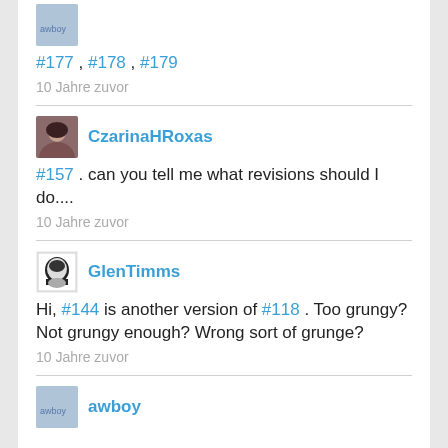[Figure (photo): Small avatar thumbnail of user awboy, partially cropped at top]
#177 , #178 , #179
10 Jahre zuvor
[Figure (photo): Avatar photo of CzarinaHRoxas, woman with dark hair]
CzarinaHRoxas
#157 . can you tell me what revisions should I do....
10 Jahre zuvor
[Figure (photo): Avatar of GlenTimms, black and white stylized face graphic]
GlenTimms
Hi, #144 is another version of #118 . Too grungy? Not grungy enough? Wrong sort of grunge?
10 Jahre zuvor
[Figure (photo): Small avatar thumbnail of user awboy]
awboy